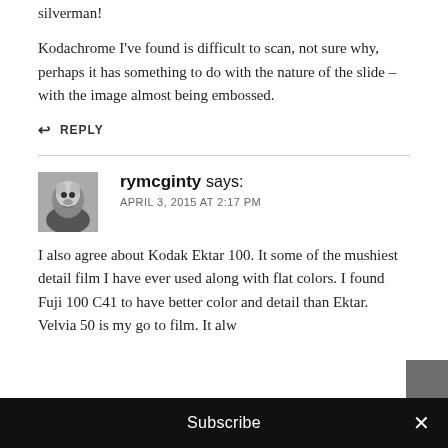silverman!
Kodachrome I've found is difficult to scan, not sure why, perhaps it has something to do with the nature of the slide – with the image almost being embossed.
↩ REPLY
rymcginty says:
APRIL 3, 2015 AT 2:17 PM
I also agree about Kodak Ektar 100. It some of the mushiest detail film I have ever used along with flat colors. I found Fuji 100 C41 to have better color and detail than Ektar. Velvia 50 is my go to film. It alw
Subscribe